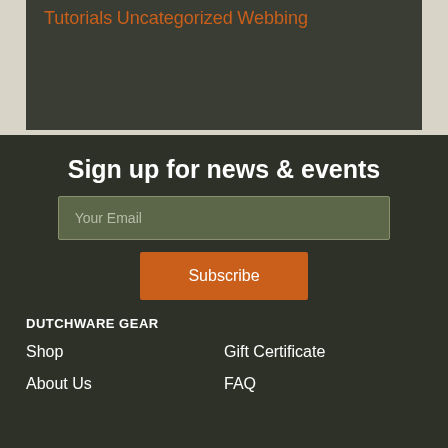Tutorials
Uncategorized
Webbing
Sign up for news & events
Your Email
Subscribe
DUTCHWARE GEAR
Shop
Gift Certificate
About Us
FAQ